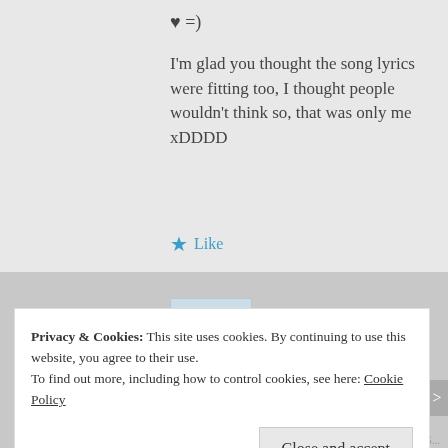♥ =)
I'm glad you thought the song lyrics were fitting too, I thought people wouldn't think so, that was only me xDDDD
★ Like
Reply
Privacy & Cookies: This site uses cookies. By continuing to use this website, you agree to their use. To find out more, including how to control cookies, see here: Cookie Policy
Close and accept